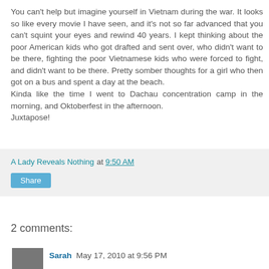You can't help but imagine yourself in Vietnam during the war. It looks so like every movie I have seen, and it's not so far advanced that you can't squint your eyes and rewind 40 years. I kept thinking about the poor American kids who got drafted and sent over, who didn't want to be there, fighting the poor Vietnamese kids who were forced to fight, and didn't want to be there. Pretty somber thoughts for a girl who then got on a bus and spent a day at the beach.
Kinda like the time I went to Dachau concentration camp in the morning, and Oktoberfest in the afternoon.
Juxtapose!
A Lady Reveals Nothing at 9:50 AM
Share
2 comments:
Sarah  May 17, 2010 at 9:56 PM